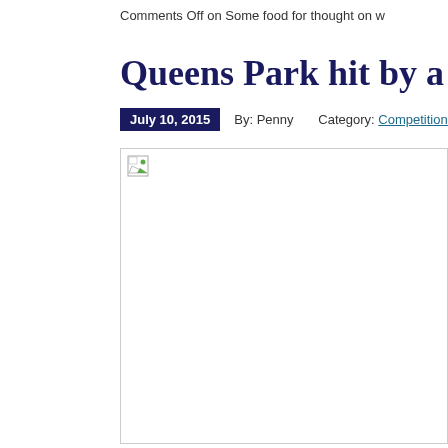Comments Off on Some food for thought on w
Queens Park hit by a Bec
July 10, 2015   By: Penny   Category: Competitions
[Figure (photo): Broken image placeholder — image failed to load]